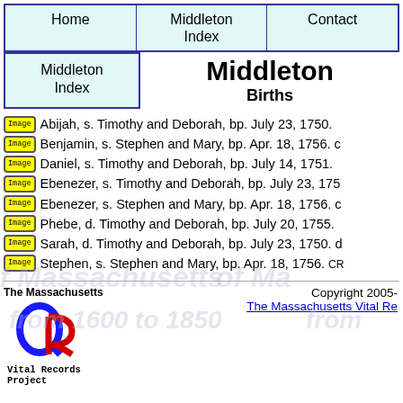Home | Middleton Index | Contact
Middleton Births
Abijah, s. Timothy and Deborah, bp. July 23, 1750.
Benjamin, s. Stephen and Mary, bp. Apr. 18, 1756.
Daniel, s. Timothy and Deborah, bp. July 14, 1751.
Ebenezer, s. Timothy and Deborah, bp. July 23, 175...
Ebenezer, s. Stephen and Mary, bp. Apr. 18, 1756.
Phebe, d. Timothy and Deborah, bp. July 20, 1755.
Sarah, d. Timothy and Deborah, bp. July 23, 1750.
Stephen, s. Stephen and Mary, bp. Apr. 18, 1756. CR
The Massachusetts Vital Records Project | Copyright 2005- The Massachusetts Vital Records